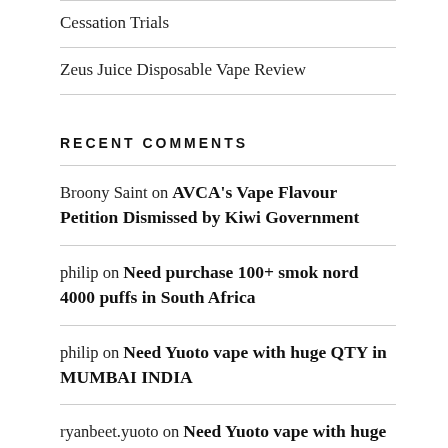Cessation Trials
Zeus Juice Disposable Vape Review
RECENT COMMENTS
Broony Saint on AVCA's Vape Flavour Petition Dismissed by Kiwi Government
philip on Need purchase 100+ smok nord 4000 puffs in South Africa
philip on Need Yuoto vape with huge QTY in MUMBAI INDIA
ryanbeet.yuoto on Need Yuoto vape with huge QTY in MUMBAI INDIA
ryanbeet.yuoto on Need Yuoto vape with huge QTY in